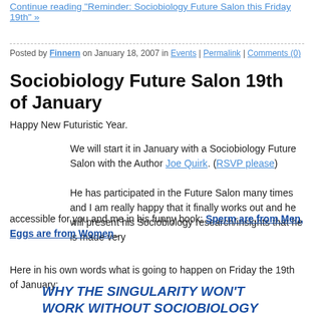Continue reading "Reminder: Sociobiology Future Salon this Friday 19th" »
Posted by Finnern on January 18, 2007 in Events | Permalink | Comments (0)
Sociobiology Future Salon 19th of January
Happy New Futuristic Year.
We will start it in January with a Sociobiology Future Salon with the Author Joe Quirk. (RSVP please)
He has participated in the Future Salon many times and I am really happy that it finally works out and he will present his Sociobiology research/insights that he is made very accessible for you and me in his funny book: Sperm are from Men, Eggs are from Women..
Here in his own words what is going to happen on Friday the 19th of January:
WHY THE SINGULARITY WON'T WORK WITHOUT SOCIOBIOLOGY